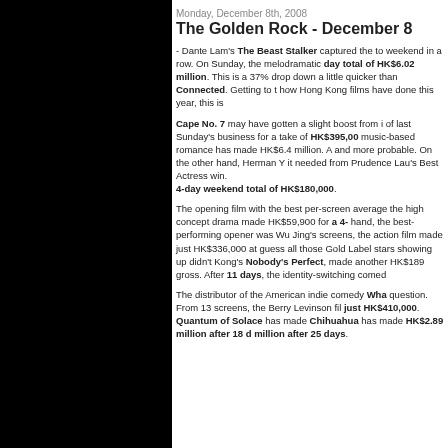Monday, December 8th, 2008
The Golden Rock - December 8
- Dante Lam's The Beast Stalker captured the top spot for the 2nd weekend in a row. On Sunday, the melodramatic thriller pulled in a 4-day total of HK$6.02 million. This is a 37% drop, which is coming down a little quicker than Connected. Getting to the comparison of how Hong Kong films have done this year, this is
Cape No. 7 may have gotten a slight boost from its award win. 73% of last Sunday's business for a take of HK$395,000 The Taiwanese music-based romance has made HK$6.4 million. A million bucks is less and more probable. On the other hand, Herman Y... it needed from Prudence Lau's Best Actress win. 4-day weekend total of HK$180,000.
The opening film with the best per-screen average was the high concept drama made HK$59,900 for a 4- hand, the best-performing opener was Wu Jing's screens, the action film made just HK$336,000 at guess all those Gold Label stars showing up didn't Kong's Nobody's Perfect, made another HK$189 gross. After 11 days, the identity-switching comed
The distributor of the American indie comedy Wha question. From 13 screens, the Berry Levinson fil just HK$410,000. Quantum of Solace has made Chihuahua has made HK$2.89 million after 18 d million after 25 days.